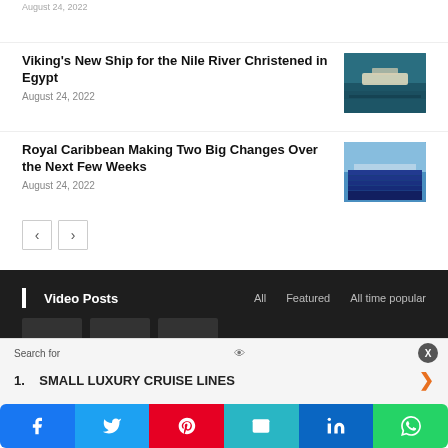August 24, 2022
Viking's New Ship for the Nile River Christened in Egypt
August 24, 2022
[Figure (photo): Aerial view of a river cruise ship on the Nile River in Egypt]
Royal Caribbean Making Two Big Changes Over the Next Few Weeks
August 24, 2022
[Figure (photo): Large cruise ship docked at port, top-down aerial view]
< >
Video Posts   All   Featured   All time popular
Search for
1.  SMALL LUXURY CRUISE LINES